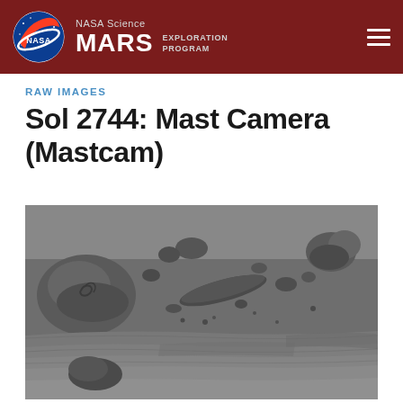NASA Science MARS EXPLORATION PROGRAM
RAW IMAGES
Sol 2744: Mast Camera (Mastcam)
[Figure (photo): Black and white raw image from NASA Curiosity rover Mastcam on Sol 2744, showing Martian rocky terrain with various rocks and sedimentary rock formations on the surface of Mars.]